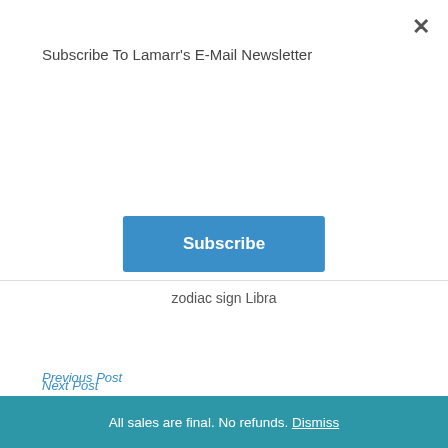Subscribe To Lamarr's E-Mail Newsletter
Subscribe
zodiac sign Libra
Previous Post
Leo Astrology: All About The Zodiac Sign Leo!
Next Post
All sales are final. No refunds. Dismiss